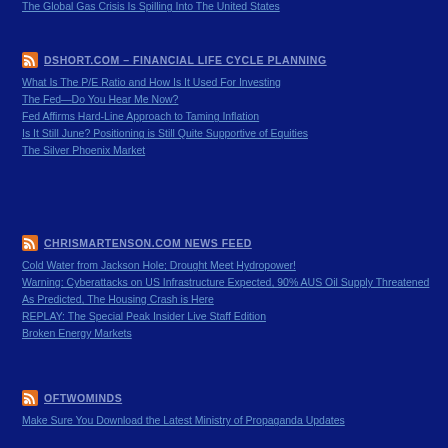The Global Gas Crisis Is Spilling Into The United States
DSHORT.COM – FINANCIAL LIFE CYCLE PLANNING
What Is The P/E Ratio and How Is It Used For Investing
The Fed—Do You Hear Me Now?
Fed Affirms Hard-Line Approach to Taming Inflation
Is It Still June? Positioning is Still Quite Supportive of Equities
The Silver Phoenix Market
CHRISMARTENSON.COM NEWS FEED
Cold Water from Jackson Hole; Drought Meet Hydropower!
Warning: Cyberattacks on US Infrastructure Expected, 90% AUS Oil Supply Threatened
As Predicted, The Housing Crash is Here
REPLAY: The Special Peak Insider Live Staff Edition
Broken Energy Markets
OFTWOMINDS
Make Sure You Download the Latest Ministry of Propaganda Updates